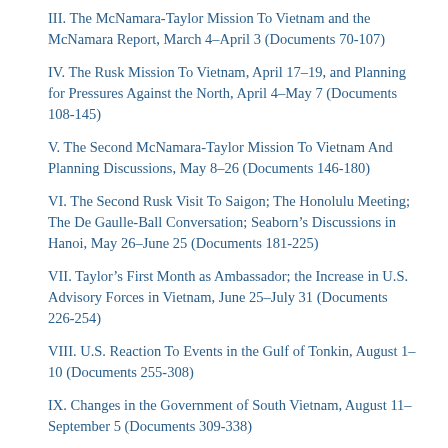III. The McNamara-Taylor Mission To Vietnam and the McNamara Report, March 4–April 3 (Documents 70-107)
IV. The Rusk Mission To Vietnam, April 17–19, and Planning for Pressures Against the North, April 4–May 7 (Documents 108-145)
V. The Second McNamara-Taylor Mission To Vietnam And Planning Discussions, May 8–26 (Documents 146-180)
VI. The Second Rusk Visit To Saigon; The Honolulu Meeting; The De Gaulle-Ball Conversation; Seaborn's Discussions in Hanoi, May 26–June 25 (Documents 181-225)
VII. Taylor's First Month as Ambassador; the Increase in U.S. Advisory Forces in Vietnam, June 25–July 31 (Documents 226-254)
VIII. U.S. Reaction To Events in the Gulf of Tonkin, August 1–10 (Documents 255-308)
IX. Changes in the Government of South Vietnam, August 11–September 5 (Documents 309-338)
X. Ambassador Taylor's Visit to Washington, September 6–